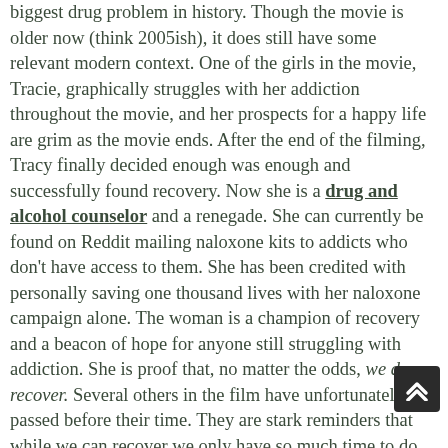biggest drug problem in history. Though the movie is older now (think 2005ish), it does still have some relevant modern context. One of the girls in the movie, Tracie, graphically struggles with her addiction throughout the movie, and her prospects for a happy life are grim as the movie ends. After the end of the filming, Tracy finally decided enough was enough and successfully found recovery. Now she is a drug and alcohol counselor and a renegade. She can currently be found on Reddit mailing naloxone kits to addicts who don't have access to them. She has been credited with personally saving one thousand lives with her naloxone campaign alone. The woman is a champion of recovery and a beacon of hope for anyone still struggling with addiction. She is proof that, no matter the odds, we do recover. Several others in the film have unfortunately passed before their time. They are stark reminders that while we can recover we only have so much time to do so. Dope Sick Love can be streamed on HBO Now or HBO Go.